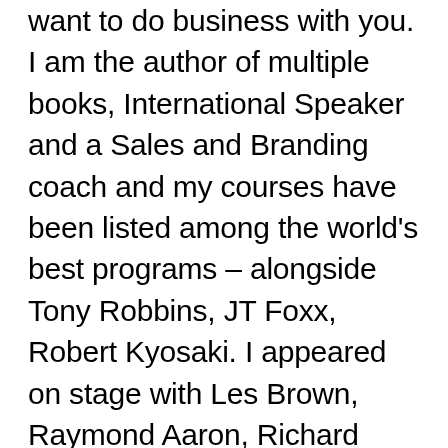want to do business with you. I am the author of multiple books, International Speaker and a Sales and Branding coach and my courses have been listed among the world's best programs – alongside Tony Robbins, JT Foxx, Robert Kyosaki. I appeared on stage with Les Brown, Raymond Aaron, Richard Tan, Douglas Vermeeren and other elite speakers in front of thousands of people alongside world renown speakers in London, Peru, Singapore and many other countries in 4 different continents.